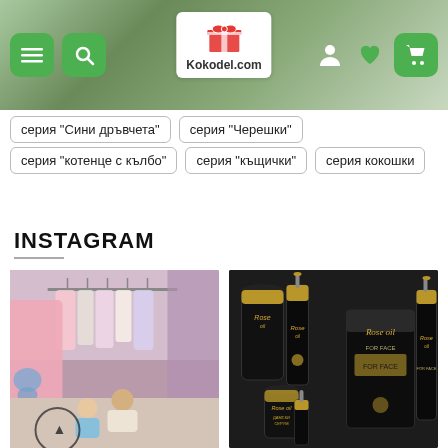[Figure (screenshot): Website header with green hamburger and search buttons on left, Kokodel.com logo in center, user/heart/cart icons on right, background is blurred green plant foliage]
серия "Сини дръвчета"
серия "Черешки"
серия "котенце с кълбо"
серия "къщички"
серия кокошки
INSTAGRAM
[Figure (photo): Mother and daughter sitting on floor in front of clothing rack with dresses in a boutique]
[Figure (photo): Rose oil products — black luxury bottles and cylindrical packaging with gold text 'Rose oil For Face']